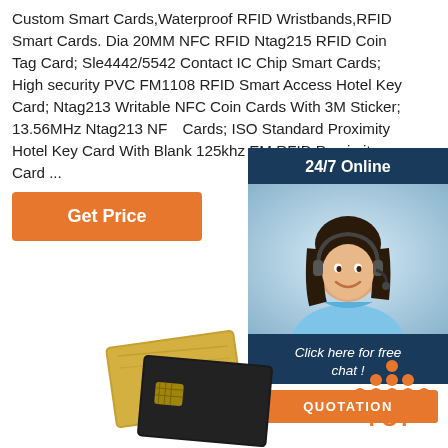Custom Smart Cards,Waterproof RFID Wristbands,RFID Smart Cards. Dia 20MM NFC RFID Ntag215 RFID Coin Tag Card; Sle4442/5542 Contact IC Chip Smart Cards; High security PVC FM1108 RFID Smart Access Hotel Key Card; Ntag213 Writable NFC Coin Cards With 3M Sticker; 13.56MHz Ntag213 NF Cards; ISO Standard Proximity Hotel Key Card With Blank 125khz EM RFID Proximity Card ...
[Figure (other): Get Price orange button]
[Figure (infographic): 24/7 Online chat widget with woman wearing headset, 'Click here for free chat!' text, and QUOTATION orange button]
[Figure (photo): RFID smart cards product photo showing gold and black cards]
[Figure (other): TOP button with orange dots arranged in triangle shape above the word TOP in orange]